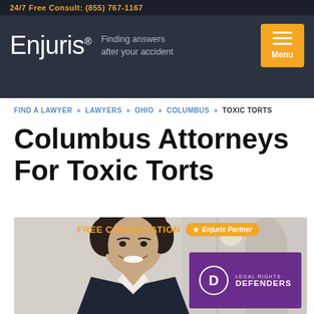24/7 Free Consult: (855) 767-1167
[Figure (logo): Enjuris logo with tagline 'Finding answers after your accident' on dark background header with orange menu button]
FIND A LAWYER » LAWYERS » OHIO » COLUMBUS » TOXIC TORTS
Columbus Attorneys For Toxic Torts
[Figure (photo): Woman attorney smiling in business attire with FREE CONSULTATION text, Enjuris Partner badge in orange, and Legal Rights Defenders logo overlay on purple background]